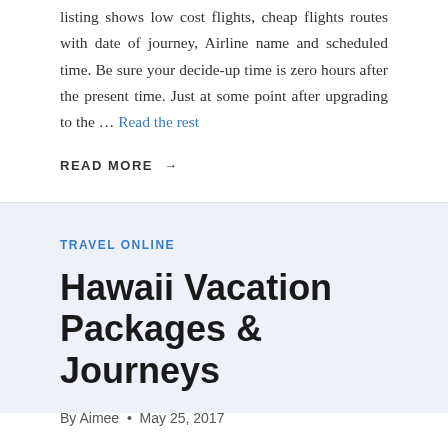listing shows low cost flights, cheap flights routes with date of journey, Airline name and scheduled time. Be sure your decide-up time is zero hours after the present time. Just at some point after upgrading to the … Read the rest
READ MORE →
TRAVEL ONLINE
Hawaii Vacation Packages & Journeys
By Aimee • May 25, 2017